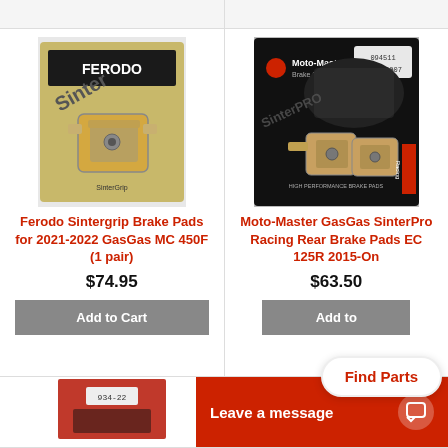[Figure (photo): Ferodo Sintergrip brake pads product photo on packaging]
[Figure (photo): Moto-Master SinterPro Racing brake pads product photo on black packaging with motocross rider]
Ferodo Sintergrip Brake Pads for 2021-2022 GasGas MC 450F (1 pair)
Moto-Master GasGas SinterPro Racing Rear Brake Pads EC 125R 2015-On
$74.95
$63.50
Add to Cart
Add to Cart
[Figure (photo): Partial product image at bottom left showing brake pads packaging with label 934-22]
Find Parts
Leave a message